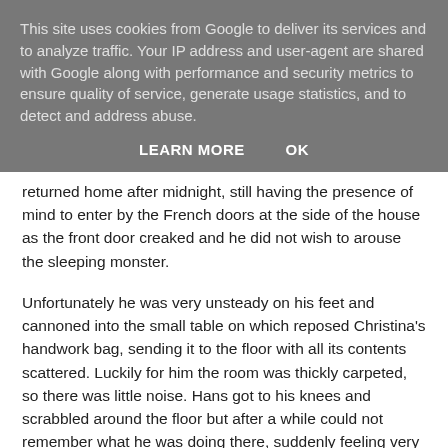This site uses cookies from Google to deliver its services and to analyze traffic. Your IP address and user-agent are shared with Google along with performance and security metrics to ensure quality of service, generate usage statistics, and to detect and address abuse.
LEARN MORE    OK
returned home after midnight, still having the presence of mind to enter by the French doors at the side of the house as the front door creaked and he did not wish to arouse the sleeping monster.
Unfortunately he was very unsteady on his feet and cannoned into the small table on which reposed Christina's handwork bag, sending it to the floor with all its contents scattered. Luckily for him the room was thickly carpeted, so there was little noise. Hans got to his knees and scrabbled around the floor but after a while could not remember what he was doing there, suddenly feeling very dizzy.